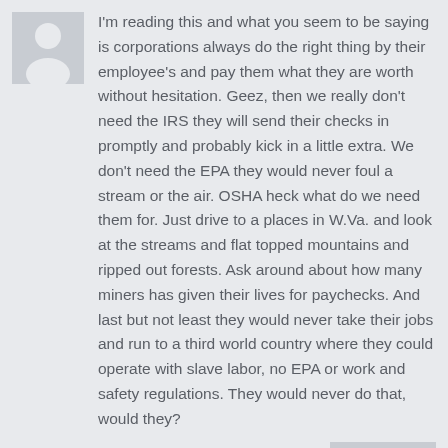[Figure (illustration): Default user avatar silhouette — grey square with a white person icon (head and shoulders)]
I'm reading this and what you seem to be saying is corporations always do the right thing by their employee's and pay them what they are worth without hesitation. Geez, then we really don't need the IRS they will send their checks in promptly and probably kick in a little extra. We don't need the EPA they would never foul a stream or the air. OSHA heck what do we need them for. Just drive to a places in W.Va. and look at the streams and flat topped mountains and ripped out forests. Ask around about how many miners has given their lives for paychecks. And last but not least they would never take their jobs and run to a third world country where they could operate with slave labor, no EPA or work and safety regulations. They would never do that, would they?
REPLY